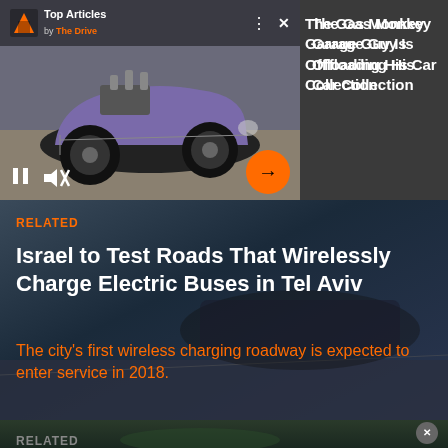[Figure (screenshot): Video player showing a custom purple hot rod car in a garage, with Top Articles by The Drive overlay, pause and mute controls, and orange next arrow button]
The Gas Monkey Garage Guy Is Offloading His Car Collection
RELATED
Israel to Test Roads That Wirelessly Charge Electric Buses in Tel Aviv
The city’s first wireless charging roadway is expected to enter service in 2018.
[Figure (photo): Bottom section showing a green sports car from aerial view on a road, with a close X button and RELATED label]
RELATED